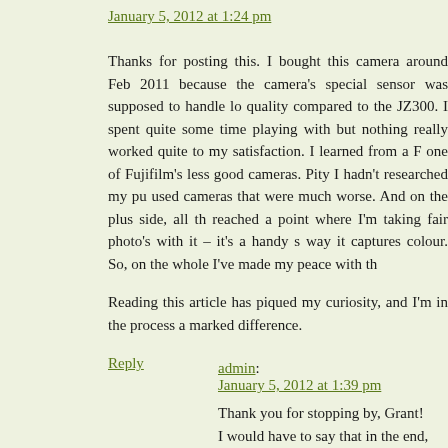January 5, 2012 at 1:24 pm
Thanks for posting this. I bought this camera around Feb 2011 because the camera's special sensor was supposed to handle lo quality compared to the JZ300. I spent quite some time playing with but nothing really worked quite to my satisfaction. I learned from a F one of Fujifilm's less good cameras. Pity I hadn't researched my pu used cameras that were much worse. And on the plus side, all th reached a point where I'm taking fair photo's with it – it's a handy s way it captures colour. So, on the whole I've made my peace with th
Reading this article has piqued my curiosity, and I'm in the process a marked difference.
Reply
admin:
January 5, 2012 at 1:39 pm
Thank you for stopping by, Grant! I would have to say that in the end, the firmware upgrade really improve the quality all that much. You still have to b experience F300EXR only works OK in a bright daylight